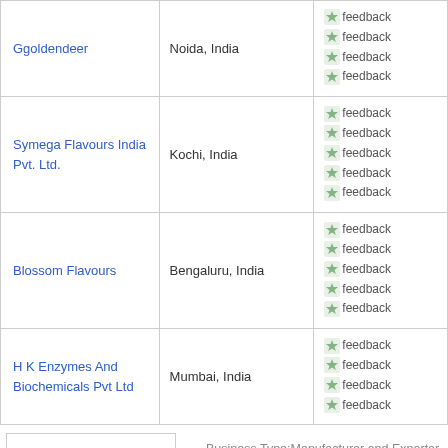| Company | Location | Feedback |
| --- | --- | --- |
| Ggoldendeer | Noida, India | feedback feedback feedback feedback |
| Symega Flavours India Pvt. Ltd. | Kochi, India | feedback feedback feedback feedback feedback |
| Blossom Flavours | Bengaluru, India | feedback feedback feedback feedback feedback |
| H K Enzymes And Biochemicals Pvt Ltd | Mumbai, India | feedback feedback feedback feedback |
Business Type:Manufacturer and Exporter
Year Established:2002